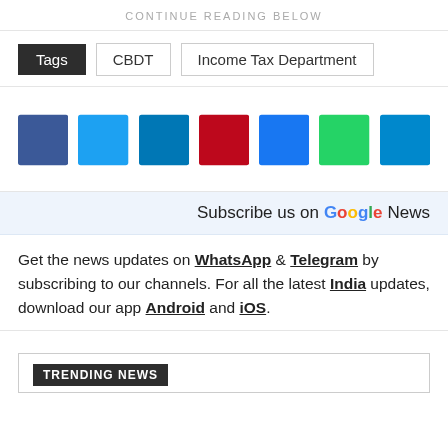CONTINUE READING BELOW
Tags  CBDT  Income Tax Department
[Figure (other): Seven social media share buttons in a row: Facebook (blue), Twitter (light blue), LinkedIn (teal), Pinterest (red), another blue, WhatsApp (green), Telegram (teal-blue)]
Subscribe us on Google News
Get the news updates on WhatsApp & Telegram by subscribing to our channels. For all the latest India updates, download our app Android and iOS.
TRENDING NEWS